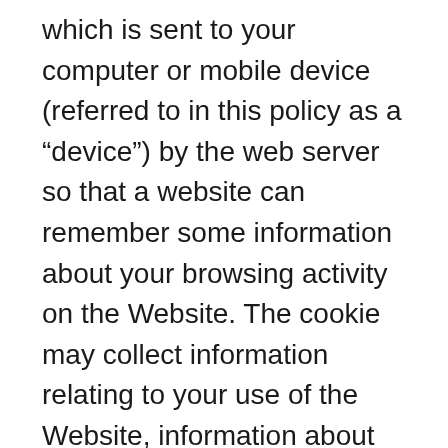which is sent to your computer or mobile device (referred to in this policy as a “device”) by the web server so that a website can remember some information about your browsing activity on the Website. The cookie may collect information relating to your use of the Website, information about your device such as the device’s IP address and browser type, demographic data and, if you arrived at the Website via a link from a third-party site, the URL of the linking page.